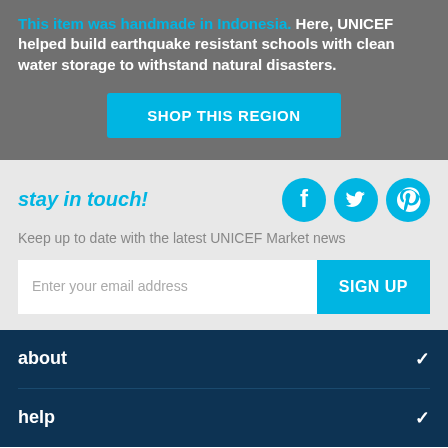This item was handmade in Indonesia. Here, UNICEF helped build earthquake resistant schools with clean water storage to withstand natural disasters.
SHOP THIS REGION
stay in touch!
Keep up to date with the latest UNICEF Market news
Enter your email address
SIGN UP
about
help